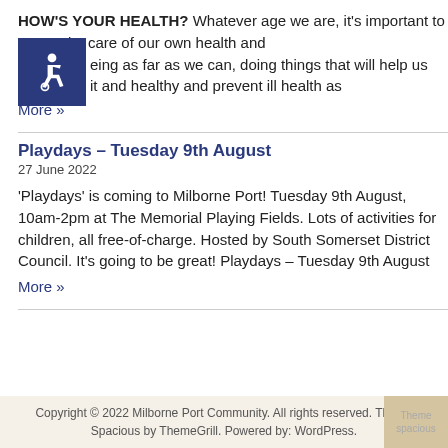HOW'S YOUR HEALTH? Whatever age we are, it's important to try to take care of our own health and wellbeing as far as we can, doing things that will help us stay fit and healthy and prevent ill health as
[Figure (illustration): Blue square with white wheelchair accessibility icon]
More »
Playdays – Tuesday 9th August
27 June 2022
'Playdays' is coming to Milborne Port!  Tuesday 9th August, 10am-2pm at The Memorial Playing Fields.  Lots of activities for children, all free-of-charge.  Hosted by South Somerset District Council.  It's going to be great!  Playdays – Tuesday 9th August
More »
Copyright © 2022 Milborne Port Community. All rights reserved. Theme Spacious by ThemeGrill. Powered by: WordPress.